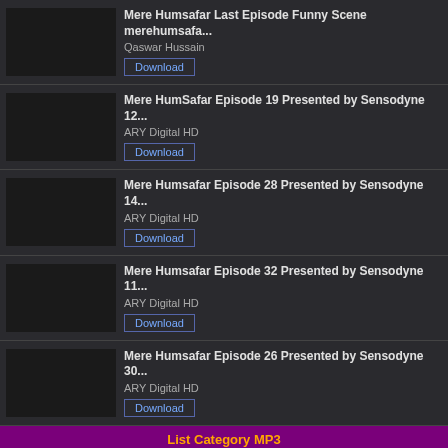Mere Humsafar Last Episode Funny Scene merehumsafa...
Qaswar Hussain
Download
Mere HumSafar Episode 19 Presented by Sensodyne 12...
ARY Digital HD
Download
Mere Humsafar Episode 28 Presented by Sensodyne 14...
ARY Digital HD
Download
Mere Humsafar Episode 32 Presented by Sensodyne 11...
ARY Digital HD
Download
Mere Humsafar Episode 26 Presented by Sensodyne 30...
ARY Digital HD
Download
List Category MP3
Lagu Hiphop | Musik Tradisional | Musik Electronic | Musik Remix | Musik Klasik | Lagu Religi | Lagu Dangdut | Lagu Daerah | Lagu Reggae
Pencarian Terakhir
Stafaband - Free Mp3 Download Lagu Gratis Terbaru